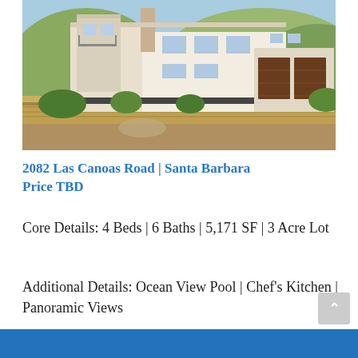[Figure (photo): Exterior rendering of a modern white Mediterranean-style two-story home with double brown garage doors, set on a hillside with retaining walls, desert landscaping, and a blue sky background.]
2082 Las Canoas Road | Santa Barbara
Price TBD
Core Details: 4 Beds | 6 Baths | 5,171 SF | 3 Acre Lot
Additional Details: Ocean View Pool | Chef's Kitchen | Panoramic Views